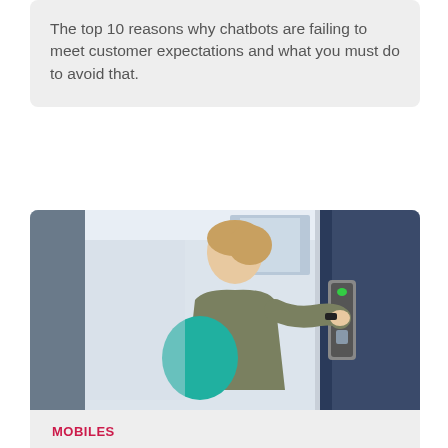The top 10 reasons why chatbots are failing to meet customer expectations and what you must do to avoid that.
[Figure (photo): A woman with a teal gym bag reaching out to tap a smart access control panel mounted on a wall near a door]
MOBILES
Demand grows for future-proof mobile access solutions
HID Global, in partnership with IFSEC Global, recently released the 2022 State of Physical Access Control report for the first time, and...